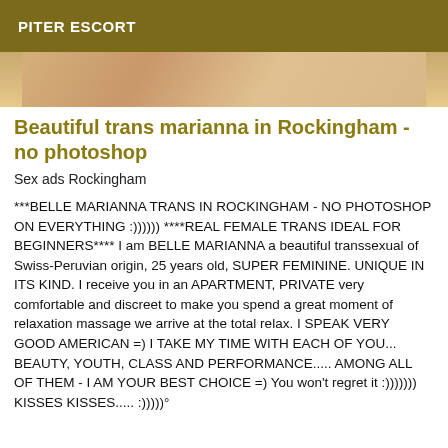PITER ESCORT
[Figure (photo): Partial photo strip showing a cropped image with warm skin tones]
Beautiful trans marianna in Rockingham - no photoshop
Sex ads Rockingham
***BELLE MARIANNA TRANS IN ROCKINGHAM - NO PHOTOSHOP ON EVERYTHING :)))))) ****REAL FEMALE TRANS IDEAL FOR BEGINNERS**** I am BELLE MARIANNA a beautiful transsexual of Swiss-Peruvian origin, 25 years old, SUPER FEMININE. UNIQUE IN ITS KIND. I receive you in an APARTMENT, PRIVATE very comfortable and discreet to make you spend a great moment of relaxation massage we arrive at the total relax. I SPEAK VERY GOOD AMERICAN =) I TAKE MY TIME WITH EACH OF YOU... BEAUTY, YOUTH, CLASS AND PERFORMANCE..... AMONG ALL OF THEM - I AM YOUR BEST CHOICE =) You won't regret it :))))))) KISSES KISSES..... :)))))°